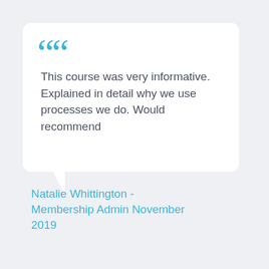This course was very informative. Explained in detail why we use processes we do. Would recommend
Natalie Whittington - Membership Admin November 2019